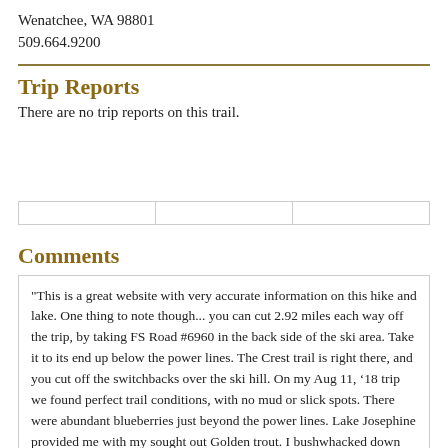Wenatchee, WA 98801
509.664.9200
Trip Reports
There are no trip reports on this trail.
Comments
"This is a great website with very accurate information on this hike and lake. One thing to note though... you can cut 2.92 miles each way off the trip, by taking FS Road #6960 in the back side of the ski area. Take it to its end up below the power lines. The Crest trail is right there, and you cut off the switchbacks over the ski hill. On my Aug 11, ’18 trip we found perfect trail conditions, with no mud or slick spots. There were abundant blueberries just beyond the power lines. Lake Josephine provided me with my sought out Golden trout. I bushwhacked down below the LARGE